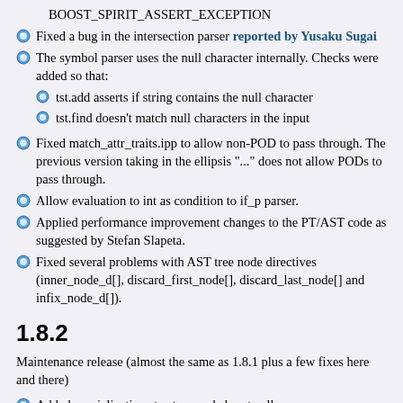BOOST_SPIRIT_ASSERT_EXCEPTION (truncated at top)
Fixed a bug in the intersection parser reported by Yusaku Sugai
The symbol parser uses the null character internally. Checks were added so that:
tst.add asserts if string contains the null character
tst.find doesn't match null characters in the input
Fixed match_attr_traits.ipp to allow non-POD to pass through. The previous version taking in the ellipsis "..." does not allow PODs to pass through.
Allow evaluation to int as condition to if_p parser.
Applied performance improvement changes to the PT/AST code as suggested by Stefan Slapeta.
Fixed several problems with AST tree node directives (inner_node_d[], discard_first_node[], discard_last_node[] and infix_node_d[]).
1.8.2
Maintenance release (almost the same as 1.8.1 plus a few fixes here and there)
Added specializations to str_p and ch_p to allow